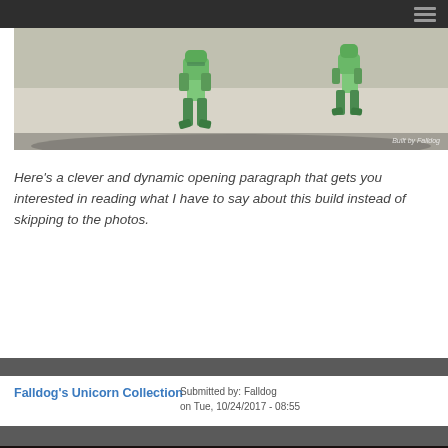[Figure (photo): Green mech/robot model figure photographed against a light gray background, watermark reads 'Built by Falldog']
Here's a clever and dynamic opening paragraph that gets you interested in reading what I have to say about this build instead of skipping to the photos.
Read More
Falldog's Unicorn Collection
Submitted by: Falldog
on Tue, 10/24/2017 - 08:55
[Figure (photo): Collection of Gundam Unicorn model figures displayed together, colorful with pink, white, and gold tones]